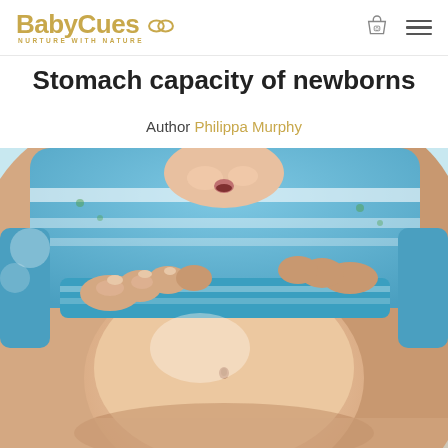BabyCues — NURTURE WITH NATURE
Stomach capacity of newborns
Author Philippa Murphy
[Figure (photo): Close-up photo of a newborn baby's stomach/belly being held, with adult hands visible around the baby who is wearing a blue and white patterned outfit with a blue diaper/nappy edge visible]